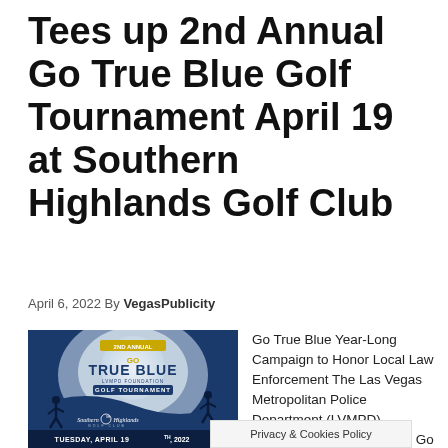Tees up 2nd Annual Go True Blue Golf Tournament April 19 at Southern Highlands Golf Club
April 6, 2022 By VegasPublicity
[Figure (photo): 2nd Annual Go True Blue LVMPD Foundation Golf Tournament promotional image showing silhouettes of golfers against a moonlit sky, with Southern Highlands Golf Club logo and text TUESDAY, APRIL 19TH, 2022]
Go True Blue Year-Long Campaign to Honor Local Law Enforcement The Las Vegas Metropolitan Police Department (LVMPD) Foundation announces the Go True Blue rue Blue on
Privacy & Cookies Policy